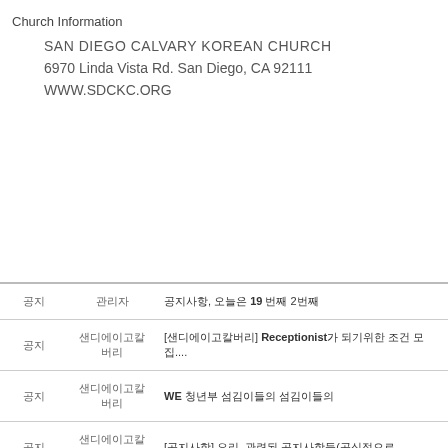Church Information
SAN DIEGO CALVARY KOREAN CHURCH
6970 Linda Vista Rd. San Diego, CA 92111
WWW.SDCKC.ORG
| 유형 | 보낸사람 | 제목 |
| --- | --- | --- |
| 공지 | 관리자 | 공지사항, 오늘은 19 번째 2번째 |
| 공지 | 샌디에이고칼버리 | [샌디에이고칼버리] Receptionist가 되기위한 조건 모집... |
| 공지 | 샌디에이고칼버리 | WE 청년부 섬김이들의 섬김이들의 |
| 공지 | 샌디에이고칼버리 | [공지사항] 요리, 관련된 공지사항들(공식적으로 ... |
| 공지 | 관리자 | [공지사항 A4B 관련한 공지 사항들 |